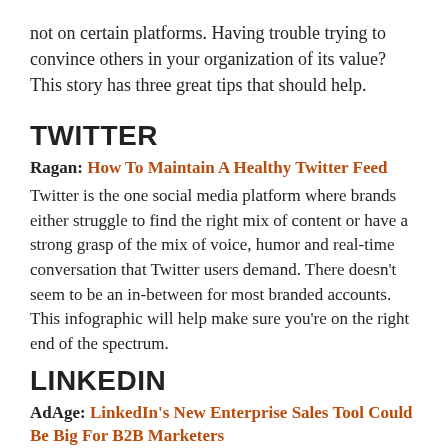not on certain platforms. Having trouble trying to convince others in your organization of its value? This story has three great tips that should help.
TWITTER
Ragan: How To Maintain A Healthy Twitter Feed
Twitter is the one social media platform where brands either struggle to find the right mix of content or have a strong grasp of the mix of voice, humor and real-time conversation that Twitter users demand. There doesn't seem to be an in-between for most branded accounts. This infographic will help make sure you're on the right end of the spectrum.
LINKEDIN
AdAge: LinkedIn's New Enterprise Sales Tool Could Be Big For B2B Marketers
LinkedIn has become the number one social media